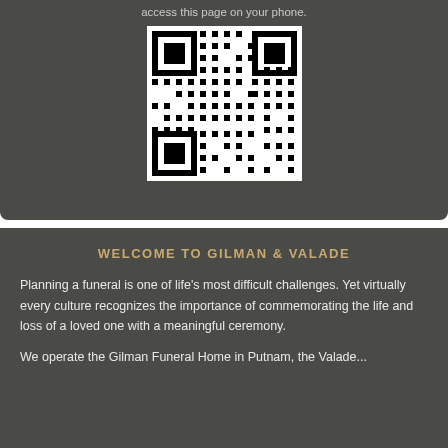access this page on your phone.
[Figure (other): QR code to access the page on a phone]
WELCOME TO GILMAN & VALADE
Planning a funeral is one of life's most difficult challenges. Yet virtually every culture recognizes the importance of commemorating the life and loss of a loved one with a meaningful ceremony.
We operate the Gilman Funeral Home in Putnam, the Valade...